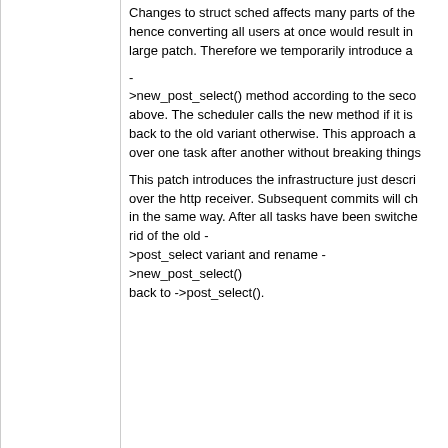Changes to struct sched affects many parts of the hence converting all users at once would result in large patch. Therefore we temporarily introduce a - >new_post_select() method according to the seco above. The scheduler calls the new method if it is back to the old variant otherwise. This approach a over one task after another without breaking things This patch introduces the infrastructure just descri over the http receiver. Subsequent commits will ch in the same way. After all tasks have been switche rid of the old - >post_select variant and rename - >new_post_select() back to ->post_select().
9 years ago
Replace gettimeofday() by clock_gettime().
commit | commitdiff | tree Andre Noll [Sun, 31 Mar 2013 02:03:04 +0000 (02:03 +0000)]
Replace gettimeofday() by clock_gettime().

POSIX.1-
2008 marks gettimeofday() as obsolete, so let's sw clock_gettime().

clock_gettime() operates on timespecs rather than gettimeofday() does. Since timevals are autonsci